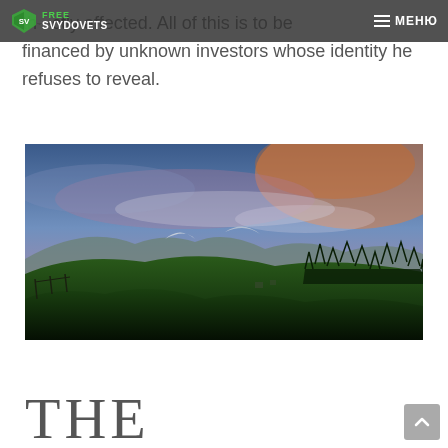FREE SVYDOVETS | МЕНЮ
th...ctly affected. All of this is to be financed by unknown investors whose identity he refuses to reveal.
[Figure (photo): Landscape panorama photo of rolling green hills with evergreen forest, snow-capped mountains in the background, under a dramatic sunset sky with blue and orange clouds.]
THE